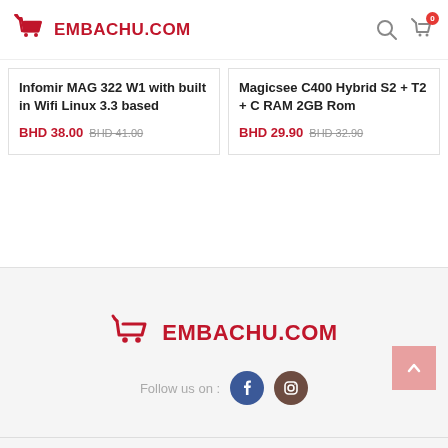Embachu.com
Infomir MAG 322 W1 with built in Wifi Linux 3.3 based
BHD 38.00 BHD 41.00
Magicsee C400 Hybrid S2 + T2 + C RAM 2GB Rom
BHD 29.90 BHD 32.90
Embachu.com — Follow us on: Facebook, Instagram